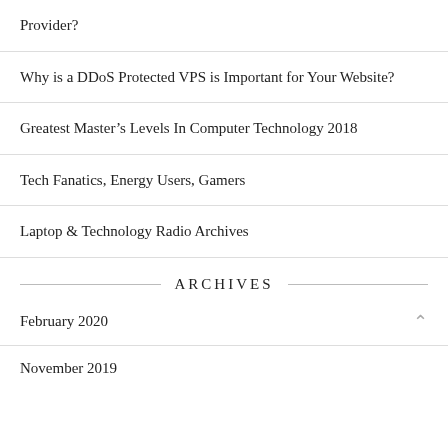Provider?
Why is a DDoS Protected VPS is Important for Your Website?
Greatest Master's Levels In Computer Technology 2018
Tech Fanatics, Energy Users, Gamers
Laptop & Technology Radio Archives
ARCHIVES
February 2020
November 2019